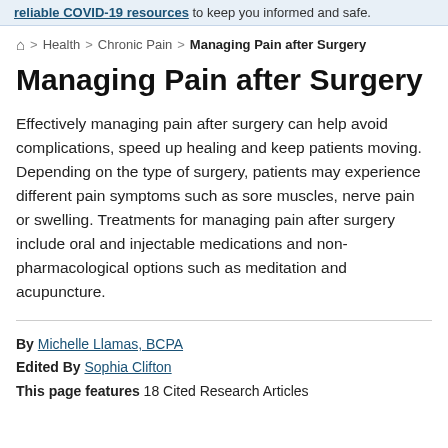reliable COVID-19 resources to keep you informed and safe.
🏠 > Health > Chronic Pain > Managing Pain after Surgery
Managing Pain after Surgery
Effectively managing pain after surgery can help avoid complications, speed up healing and keep patients moving. Depending on the type of surgery, patients may experience different pain symptoms such as sore muscles, nerve pain or swelling. Treatments for managing pain after surgery include oral and injectable medications and non-pharmacological options such as meditation and acupuncture.
By Michelle Llamas, BCPA
Edited By Sophia Clifton
This page features 18 Cited Research Articles